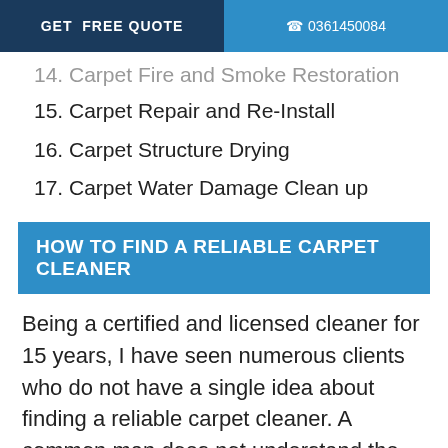GET FREE QUOTE   ☎ 0361450084
14. Carpet Fire and Smoke Restoration
15. Carpet Repair and Re-Install
16. Carpet Structure Drying
17. Carpet Water Damage Clean up
HOW TO FIND A RELIABLE CARPET CLEANER
Being a certified and licensed cleaner for 15 years, I have seen numerous clients who do not have a single idea about finding a reliable carpet cleaner. A common man does not understand the nuances involved in carpet cleaning and the ones present in the cleaning industry. They usually fall for those cleaners who are after making bucks and not cleaning carpets. So I decided to write this down to help all those people who